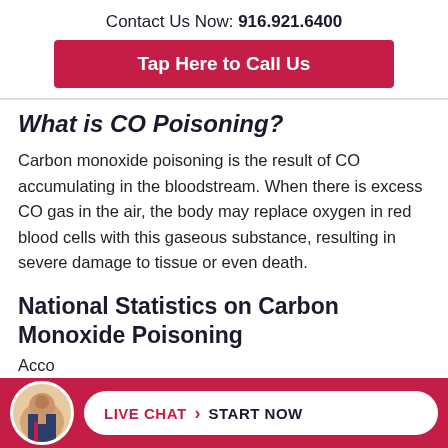Contact Us Now: 916.921.6400
Tap Here to Call Us
What is CO Poisoning?
Carbon monoxide poisoning is the result of CO accumulating in the bloodstream. When there is excess CO gas in the air, the body may replace oxygen in red blood cells with this gaseous substance, resulting in severe damage to tissue or even death.
National Statistics on Carbon Monoxide Poisoning
Acco
[Figure (photo): Circular avatar photo of a man in a suit with a red tie, displayed in the bottom chat bar]
LIVE CHAT  START NOW